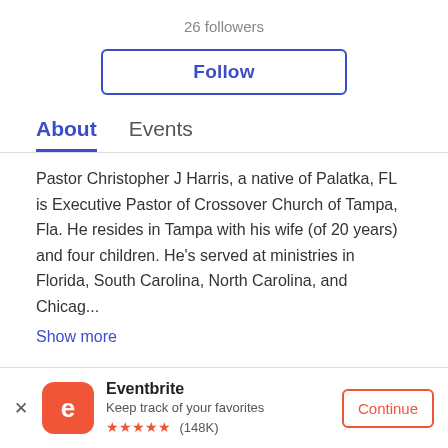26 followers
Follow
About
Events
Pastor Christopher J Harris, a native of Palatka, FL is Executive Pastor of Crossover Church of Tampa, Fla. He resides in Tampa with his wife (of 20 years) and four children. He's served at ministries in Florida, South Carolina, North Carolina, and Chicag...
Show more
[Figure (logo): Facebook icon in a gray circle]
[Figure (logo): Twitter icon in a gray circle]
[Figure (logo): Eventbrite orange app icon with white 'e' logo]
Eventbrite
Keep track of your favorites
★★★★★ (148K)
Continue